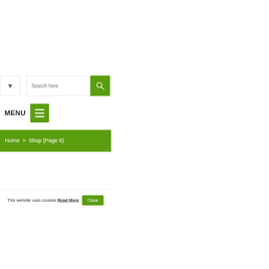[Figure (screenshot): Filter funnel icon button with border]
[Figure (screenshot): Search input field with 'Search here' placeholder and green search button with magnifying glass icon]
MENU
[Figure (screenshot): Green hamburger menu icon button]
Home > Shop (Page 6)
This website uses cookies Read More Close